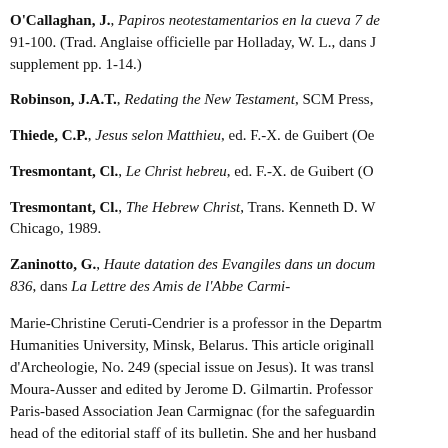O'Callaghan, J., Papiros neotestamentarios en la cueva 7 de... 91-100. (Trad. Anglaise officielle par Holladay, W. L., dans J... supplement pp. 1-14.)
Robinson, J.A.T., Redating the New Testament, SCM Press,
Thiede, C.P., Jesus selon Matthieu, ed. F.-X. de Guibert (Oe
Tresmontant, Cl., Le Christ hebreu, ed. F.-X. de Guibert (O
Tresmontant, Cl., The Hebrew Christ, Trans. Kenneth D. W... Chicago, 1989.
Zaninotto, G., Haute datation des Evangiles dans un docum... 836, dans La Lettre des Amis de l'Abbe Carmi-
Marie-Christine Ceruti-Cendrier is a professor in the Departm... Humanities University, Minsk, Belarus. This article originall... d'Archeologie, No. 249 (special issue on Jesus). It was transl... Moura-Ausser and edited by Jerome D. Gilmartin. Professor... Paris-based Association Jean Carmignac (for the safeguardin... head of the editorial staff of its bulletin. She and her husband... Rome. This article first appeared in Homiletic & Pastoral Re